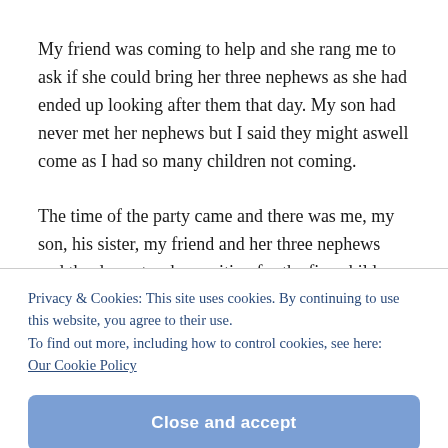My friend was coming to help and she rang me to ask if she could bring her three nephews as she had ended up looking after them that day. My son had never met her nephews but I said they might aswell come as I had so many children not coming.
The time of the party came and there was me, my son, his sister, my friend and her three nephews and the dance teacher waiting for the five children from school. Only one turned up!
Privacy & Cookies: This site uses cookies. By continuing to use this website, you agree to their use.
To find out more, including how to control cookies, see here:
Our Cookie Policy
Close and accept